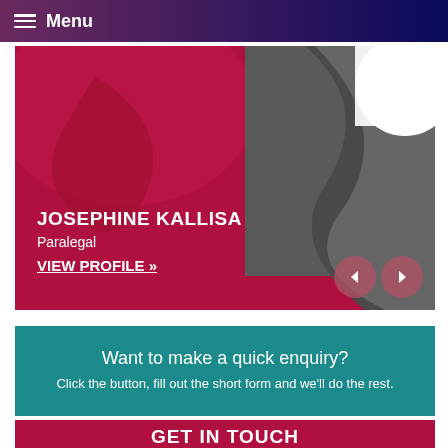Menu
[Figure (illustration): Law firm staff profile card with decorative background shapes in dark red and grey. Shows abstract silhouette imagery.]
JOSEPHINE KALLISA
Paralegal
VIEW PROFILE »
Want to make a quick enquiry?
Click the button, fill out the short form and we'll do the rest.
GET IN TOUCH